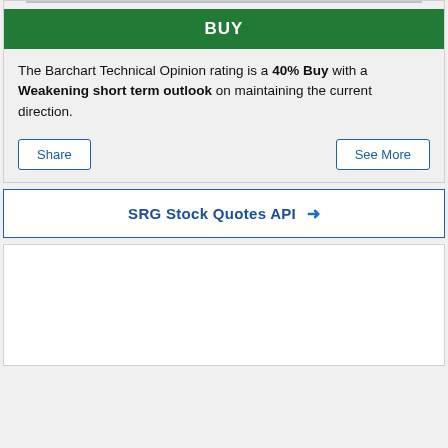BUY
The Barchart Technical Opinion rating is a 40% Buy with a Weakening short term outlook on maintaining the current direction.
Share
See More
SRG Stock Quotes API →